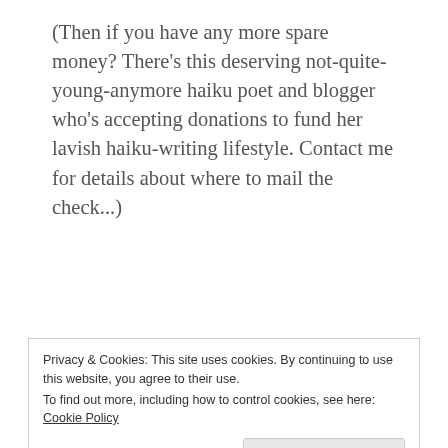(Then if you have any more spare money? There's this deserving not-quite-young-anymore haiku poet and blogger who's accepting donations to fund her lavish haiku-writing lifestyle. Contact me for details about where to mail the check...)
Dead Tree News
I really hope I've mentioned this before, but all the women out there in the Haikuverse need to think about
Privacy & Cookies: This site uses cookies. By continuing to use this website, you agree to their use.
To find out more, including how to control cookies, see here: Cookie Policy
and you should include 5 to 15 poems, your name